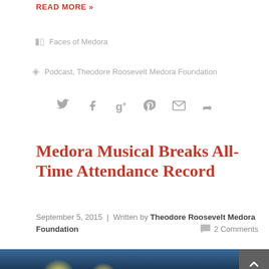READ MORE >>
Faces of Medora
Podcast, Theodore Roosevelt Medora Foundation
[Figure (infographic): Social share icons: Twitter, Facebook, Google+, Pinterest, Email, Share]
Medora Musical Breaks All-Time Attendance Record
September 5, 2015 | Written by Theodore Roosevelt Medora Foundation   2 Comments
[Figure (photo): Night photo of outdoor stage area with bright lights against dark sky and treeline silhouette]